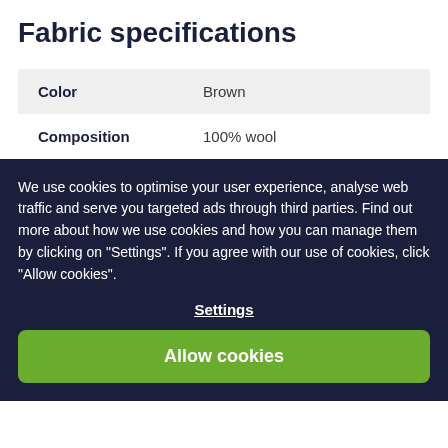Fabric specifications
|  |  |
| --- | --- |
| Color | Brown |
| Composition | 100% wool |
We use cookies to optimise your user experience, analyse web traffic and serve you targeted ads through third parties. Find out more about how we use cookies and how you can manage them by clicking on "Settings". If you agree with our use of cookies, click "Allow cookies".
Settings
Allow cookies